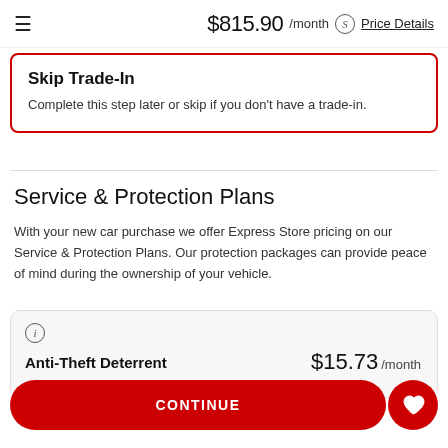$815.90 /month  Price Details
Skip Trade-In
Complete this step later or skip if you don't have a trade-in.
Service & Protection Plans
With your new car purchase we offer Express Store pricing on our Service & Protection Plans. Our protection packages can provide peace of mind during the ownership of your vehicle.
Anti-Theft Deterrent  $15.73 /month
CONTINUE